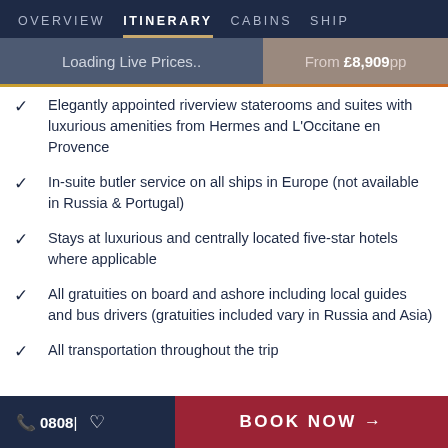OVERVIEW  ITINERARY  CABINS  SHIP
Loading Live Prices..  From £8,909pp
Elegantly appointed riverview staterooms and suites with luxurious amenities from Hermes and L'Occitane en Provence
In-suite butler service on all ships in Europe (not available in Russia & Portugal)
Stays at luxurious and centrally located five-star hotels where applicable
All gratuities on board and ashore including local guides and bus drivers (gratuities included vary in Russia and Asia)
All transportation throughout the trip
📞 0808|  ♡  BOOK NOW →